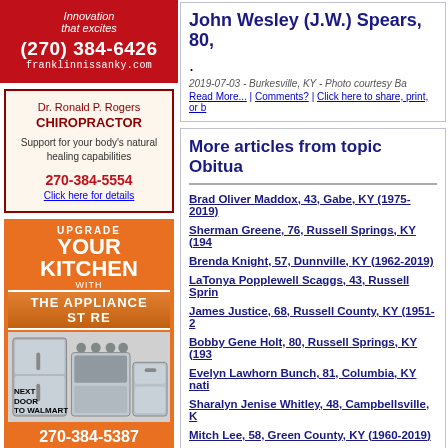[Figure (advertisement): Franklin Nissan ad - red background, 'Innovation that excites', phone (270) 384-6426, franklinnissanky.com]
[Figure (advertisement): Dr. Ronald P. Rogers Chiropractor ad - support for body's natural healing capabilities, 270-384-5554, Click here for details]
[Figure (advertisement): Upgrade Your Kitchen with The Appliance Store ad - orange background, kitchen appliances image, Next Door to Walmart, 270-384-5387]
John Wesley (J.W.) Spears, 80,
.
2019-07-03 - Burkesville, KY - Photo courtesy Ba
Read More... | Comments? | Click here to share, print, or b
More articles from topic Obitua
Brad Oliver Maddox, 43, Gabe, KY (1975-2019)
Sherman Greene, 76, Russell Springs, KY (194
Brenda Knight, 57, Dunnville, KY (1962-2019)
LaTonya Popplewell Scaggs, 43, Russell Sprin
James Justice, 68, Russell County, KY (1951-2
Bobby Gene Holt, 80, Russell Springs, KY (193
Evelyn Lawhorn Bunch, 81, Columbia, KY nati
Sharalyn Jenise Whitley, 48, Campbellsville, K
Mitch Lee, 58, Green County, KY (1960-2019)